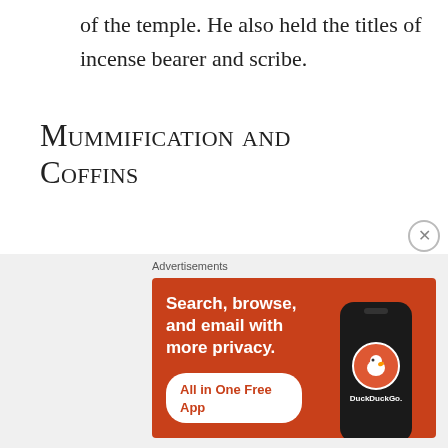of the temple. He also held the titles of incense bearer and scribe.
Mummification and Coffins
Nesyamun died around his 40s or 50s and was mummified with a double coffin. His body was covered in spices and wrapped in 40 layers of linen bandages. The coffins are among the best
[Figure (other): DuckDuckGo advertisement banner: orange background with text 'Search, browse, and email with more privacy.' and 'All in One Free App' button, with a phone mockup showing the DuckDuckGo logo]